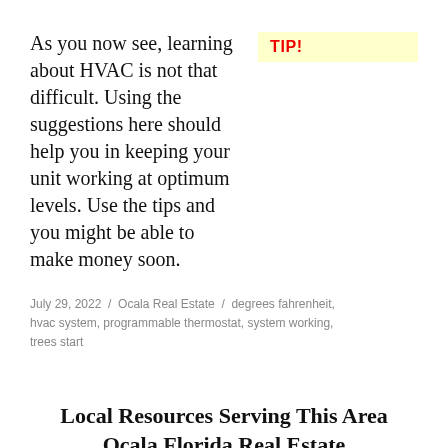As you now see, learning about HVAC is not that difficult. Using the suggestions here should help you in keeping your unit working at optimum levels. Use the tips and you might be able to make money soon.
TIP!
July 29, 2022  /  Ocala Real Estate  /  degrees fahrenheit, hvac system, programmable thermostat, system working, trees start
Local Resources Serving This Area Ocala Florida Real Estate